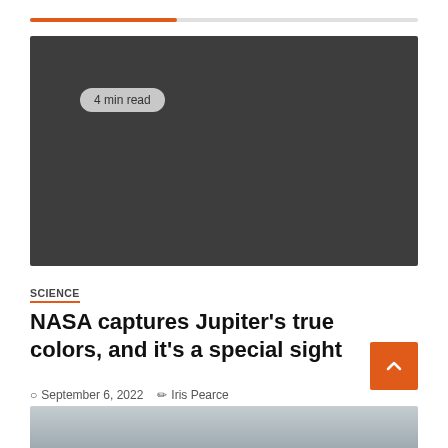[Figure (other): Orange and grey progress bar at the top of the page, approximately 38% filled]
[Figure (photo): Large dark grey hero image placeholder approximately 230px tall, showing a '4 min read' badge in the upper left]
SCIENCE
NASA captures Jupiter’s true colors, and it’s a special sight
○ September 6, 2022   ✎ Iris Pearce
[Figure (photo): Bottom portion of a grey/blue image partially visible at the very bottom of the page]